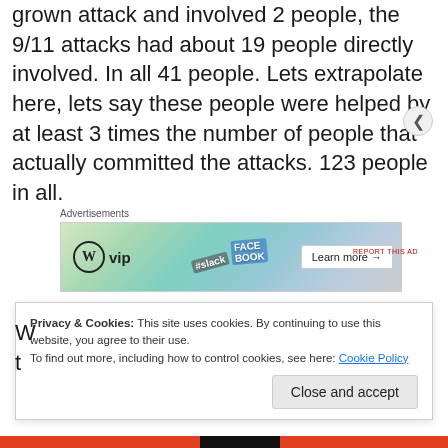grown attack and involved 2 people, the 9/11 attacks had about 19 people directly involved. In all 41 people. Lets extrapolate here, lets say these people were helped by at least 3 times the number of people that actually committed the attacks. 123 people in all.
[Figure (other): WordPress VIP advertisement banner with logos including WP VIP, Slack, Facebook, and a Learn more button]
Privacy & Cookies: This site uses cookies. By continuing to use this website, you agree to their use.
To find out more, including how to control cookies, see here: Cookie Policy
Close and accept